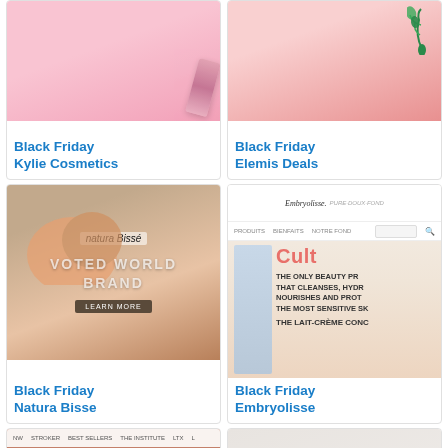[Figure (screenshot): Kylie Cosmetics pink background with cosmetics product]
Black Friday Kylie Cosmetics
[Figure (screenshot): Elemis Deals pink/red background with plant]
Black Friday Elemis Deals
[Figure (screenshot): Natura Bisse website screenshot with orange/beige tones, voted world brand overlay]
Black Friday Natura Bisse
[Figure (screenshot): Embryolisse website screenshot showing Cult product and Lait-Crème Concentré]
Black Friday Embryolisse
[Figure (screenshot): Shine brand website with terracotta tones and white product bottles]
[Figure (photo): Blush compact makeup product on light grey background]